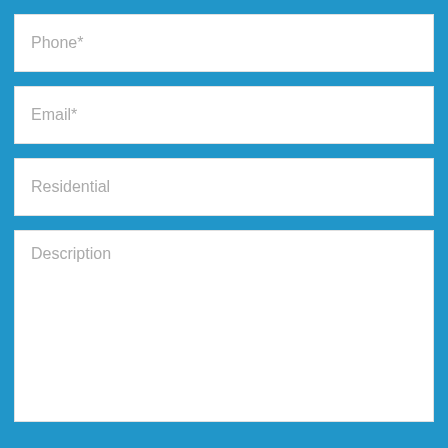Phone*
Email*
Residential
Description